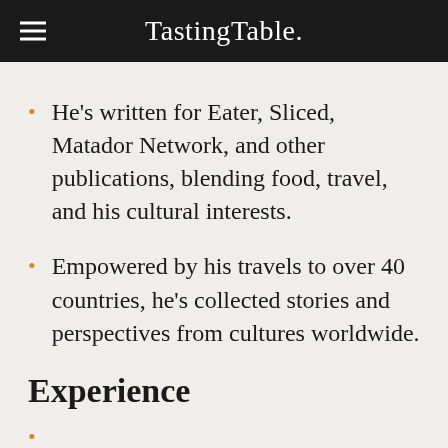TastingTable.
He's written for Eater, Sliced, Matador Network, and other publications, blending food, travel, and his cultural interests.
Empowered by his travels to over 40 countries, he's collected stories and perspectives from cultures worldwide.
Experience
Nikita Ephanov has written on food, coffee, technology, and travel for publications like